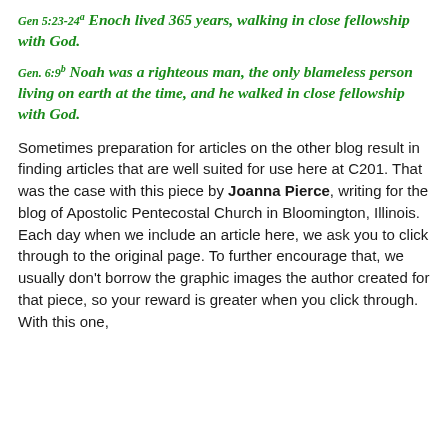Gen 5:23-24a Enoch lived 365 years, walking in close fellowship with God.
Gen. 6:9b Noah was a righteous man, the only blameless person living on earth at the time, and he walked in close fellowship with God.
Sometimes preparation for articles on the other blog result in finding articles that are well suited for use here at C201. That was the case with this piece by Joanna Pierce, writing for the blog of Apostolic Pentecostal Church in Bloomington, Illinois. Each day when we include an article here, we ask you to click through to the original page. To further encourage that, we usually don't borrow the graphic images the author created for that piece, so your reward is greater when you click through. With this one,